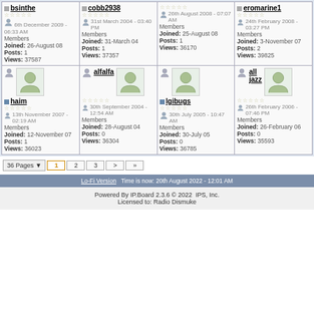| bsinthe | cobb2938 | (unnamed) | eromarine1 |
| --- | --- | --- | --- |
| 6th December 2009 - 06:33 AM
Members
Joined: 26-August 08
Posts: 1
Views: 37587 | 31st March 2004 - 03:40 PM
Members
Joined: 31-March 04
Posts: 1
Views: 37357 | 26th August 2008 - 07:07 AM
Members
Joined: 25-August 08
Posts: 1
Views: 36170 | 24th February 2008 - 03:27 PM
Members
Joined: 3-November 07
Posts: 2
Views: 39825 |
| haim
13th November 2007 - 02:19 AM
Members
Joined: 12-November 07
Posts: 1
Views: 36023 | alfalfa
30th September 2004 - 12:54 AM
Members
Joined: 28-August 04
Posts: 0
Views: 36304 | lgibugs
30th July 2005 - 10:47 AM
Members
Joined: 30-July 05
Posts: 0
Views: 36785 | all jazz
26th February 2006 - 07:46 PM
Members
Joined: 26-February 06
Posts: 0
Views: 35593 |
36 Pages  1  2  3  >  »
Lo-Fi Version   Time is now: 20th August 2022 - 12:01 AM
Powered By IP.Board 2.3.6 © 2022  IPS, Inc.
Licensed to: Radio Dismuke